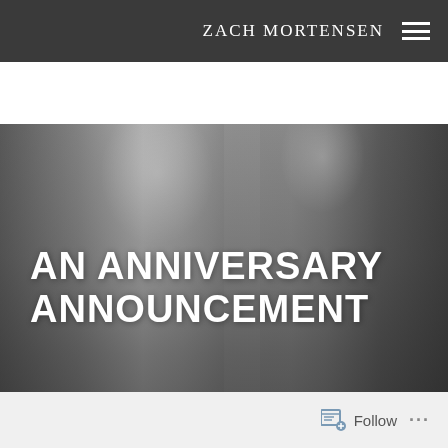ZACH MORTENSEN
[Figure (photo): Black and white wedding photo of a bride and groom close together. The bride is wearing a white dress with a pearl necklace and holding a bouquet of roses. The groom is in a dark suit. The image is cropped to show their upper bodies.]
AN ANNIVERSARY ANNOUNCEMENT
Follow ...